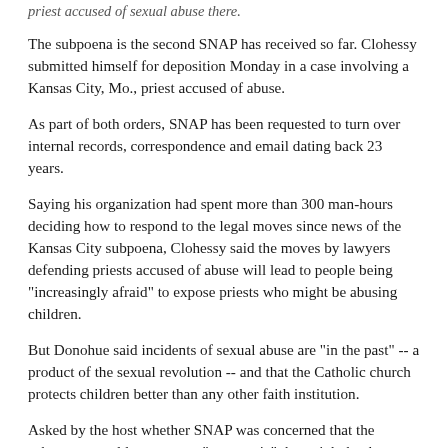priest accused of sexual abuse there.
The subpoena is the second SNAP has received so far. Clohessy submitted himself for deposition Monday in a case involving a Kansas City, Mo., priest accused of abuse.
As part of both orders, SNAP has been requested to turn over internal records, correspondence and email dating back 23 years.
Saying his organization had spent more than 300 man-hours deciding how to respond to the legal moves since news of the Kansas City subpoena, Clohessy said the moves by lawyers defending priests accused of abuse will lead to people being "increasingly afraid" to expose priests who might be abusing children.
But Donohue said incidents of sexual abuse are "in the past" -- a product of the sexual revolution -- and that the Catholic church protects children better than any other faith institution.
Asked by the host whether SNAP was concerned that the subpoenas could represent a "new tactic" that might bankrupt the organization, Clohessy said they were "less concerned about the money."
"More...